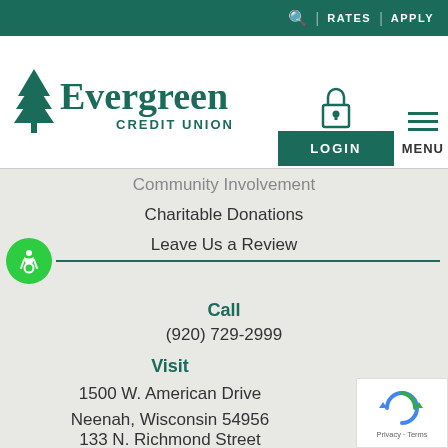🔍  |  RATES  |  APPLY
[Figure (logo): Evergreen Credit Union logo with tree icon]
[Figure (screenshot): Lock icon above green LOGIN button with hamburger menu and MENU label]
Community Involvement (partially visible)
Charitable Donations
Leave Us a Review
[Figure (illustration): Green circle with wheelchair accessibility icon, followed by a dark green horizontal rule]
Call
(920) 729-2999
Visit
1500 W. American Drive
Neenah, Wisconsin 54956
133 N. Richmond Street